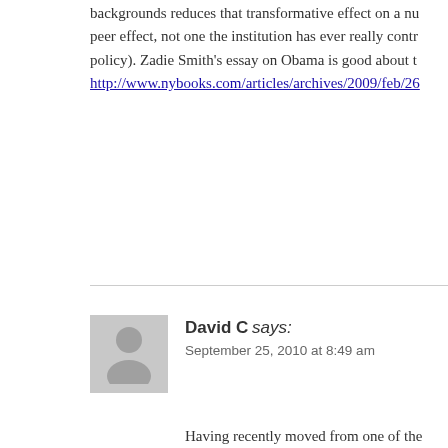backgrounds reduces that transformative effect on a nu peer effect, not one the institution has ever really contr policy). Zadie Smith's essay on Obama is good about t http://www.nybooks.com/articles/archives/2009/feb/26
David C says:
September 25, 2010 at 8:49 am
Having recently moved from one of the most elite univ public university (ahh, gotta love that 7-and-out "tenure difference is collective body language.
Elite U. students, whether in the classroom or in office the time: in lectures, they straighten up in chairs during head to hear; in discussions, they move forward to talk. spooked — at some point, eventually, lean forward to b profound way, Elite U. students demonstrate they want that they want to be heard themselves.
On the other hand, regional Public U. students — some